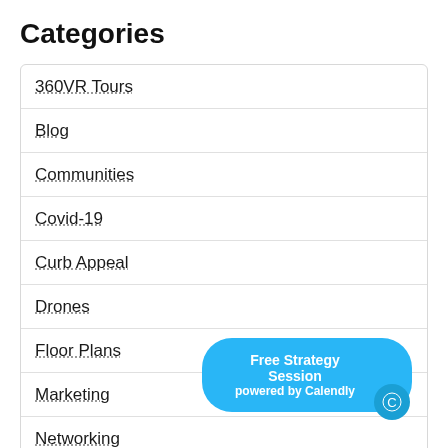Categories
360VR Tours
Blog
Communities
Covid-19
Curb Appeal
Drones
Floor Plans
Marketing
Networking
Free Strategy Session powered by Calendly